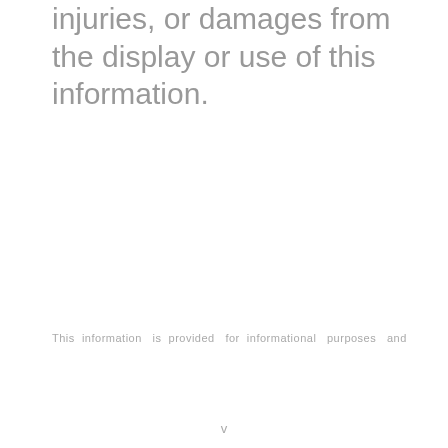injuries, or damages from the display or use of this information.
This information is provided for informational purposes and
v